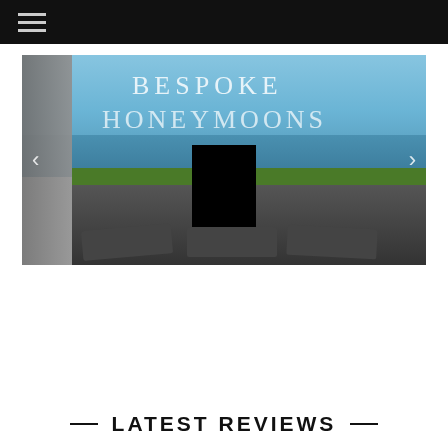Navigation bar with hamburger menu
[Figure (photo): Luxury resort infinity pool with lounge chairs, tropical greenery, and ocean view in the background. Overlay text reads 'BESPOKE HONEYMOONS' in large thin serif letters. A black rectangle partially obscures the center. Left and right carousel navigation arrows are visible.]
LATEST REVIEWS